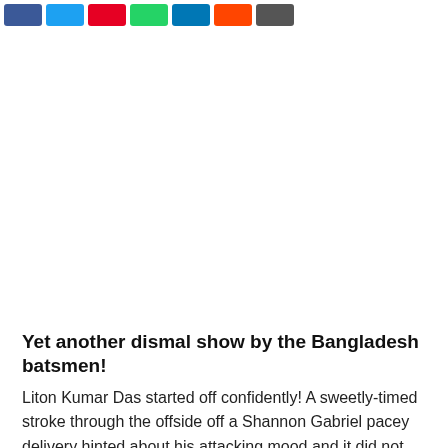[Figure (other): Row of social media share buttons: Facebook (blue), Twitter (light blue), Pinterest (red), WhatsApp (green), LinkedIn (dark blue), Reddit (orange), Email (dark gray)]
Yet another dismal show by the Bangladesh batsmen!
Liton Kumar Das started off confidently! A sweetly-timed stroke through the offside off a Shannon Gabriel pacey delivery hinted about his attacking mood and it did not stop just here, but Keemo Paul was dispatched for a boundary through the extra-cover via a glorious drive. Confidence has